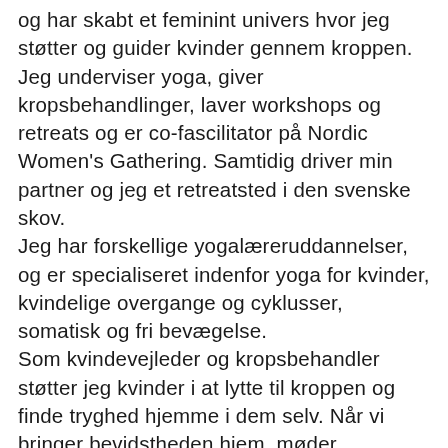og har skabt et feminint univers hvor jeg støtter og guider kvinder gennem kroppen. Jeg underviser yoga, giver kropsbehandlinger, laver workshops og retreats og er co-fascilitator på Nordic Women's Gathering. Samtidig driver min partner og jeg et retreatsted i den svenske skov. Jeg har forskellige yogalæreruddannelser, og er specialiseret indenfor yoga for kvinder, kvindelige overgange og cyklusser, somatisk og fri bevægelse. Som kvindevejleder og kropsbehandler støtter jeg kvinder i at lytte til kroppen og finde tryghed hjemme i dem selv. Når vi bringer bevidstheden hjem, møder blokeringer med omsorg og udvider modet til at blive i kroppen, når vi fx. føler frygt, følelsesløshed, smerte, spænding og dyb ekstase og nydelse – skaber vi et indre naturligt flow - som gør at vi er mere frie, kraftfulde, kærlige og sande i